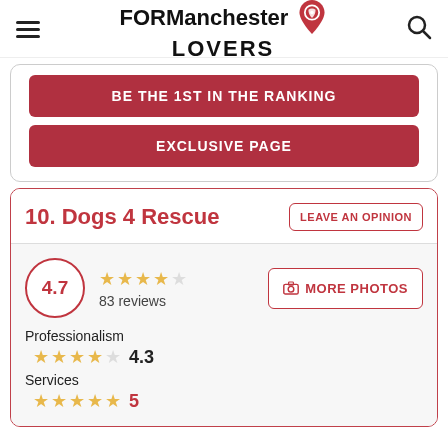FOR Manchester LOVERS
BE THE 1ST IN THE RANKING
EXCLUSIVE PAGE
10. Dogs 4 Rescue
LEAVE AN OPINION
4.7 — 83 reviews — MORE PHOTOS
Professionalism
4.3
Services
5